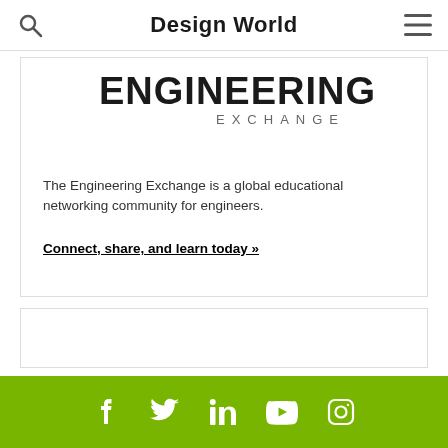Design World
[Figure (logo): Engineering Exchange logo — large bold 'ENGINEERING' text with 'Exchange' subtitle in smaller caps]
The Engineering Exchange is a global educational networking community for engineers.
Connect, share, and learn today »
[Figure (other): Empty advertisement/content box]
[Figure (other): Social media footer bar with Facebook, Twitter, LinkedIn, YouTube, and Instagram icons in white on olive/green background]